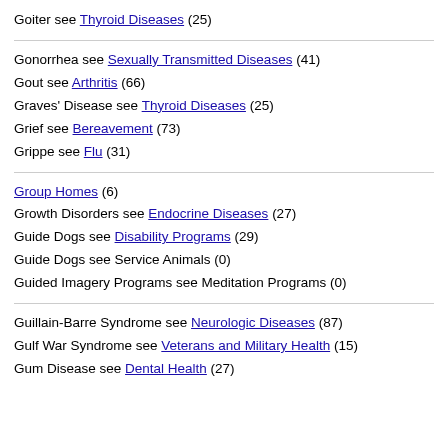Goiter see Thyroid Diseases (25)
Gonorrhea see Sexually Transmitted Diseases (41)
Gout see Arthritis (66)
Graves' Disease see Thyroid Diseases (25)
Grief see Bereavement (73)
Grippe see Flu (31)
Group Homes (6)
Growth Disorders see Endocrine Diseases (27)
Guide Dogs see Disability Programs (29)
Guide Dogs see Service Animals (0)
Guided Imagery Programs see Meditation Programs (0)
Guillain-Barre Syndrome see Neurologic Diseases (87)
Gulf War Syndrome see Veterans and Military Health (15)
Gum Disease see Dental Health (27)